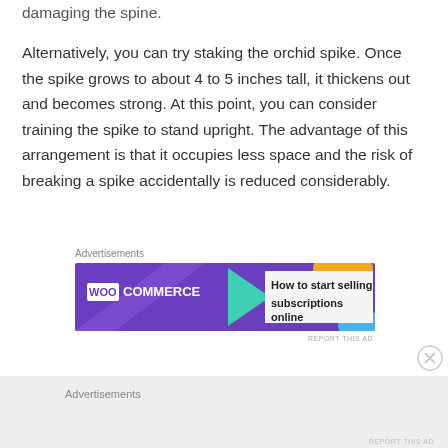damaging the spine.
Alternatively, you can try staking the orchid spike. Once the spike grows to about 4 to 5 inches tall, it thickens out and becomes strong. At this point, you can consider training the spike to stand upright. The advantage of this arrangement is that it occupies less space and the risk of breaking a spike accidentally is reduced considerably.
[Figure (screenshot): WooCommerce advertisement banner: purple background with WooCommerce logo and text 'How to start selling subscriptions online' with colorful geometric shapes]
[Figure (screenshot): Second advertisement section area with gray background showing 'Advertisements' label]